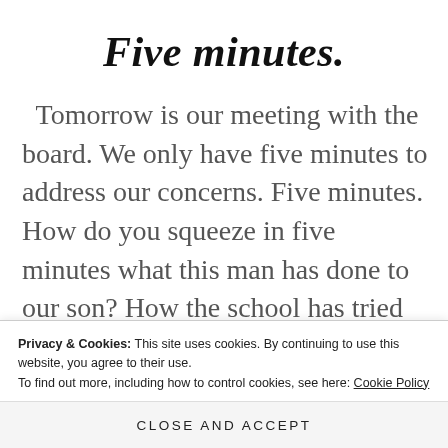Five minutes.
Tomorrow is our meeting with the board. We only have five minutes to address our concerns. Five minutes. How do you squeeze in five minutes what this man has done to our son? How the school has tried over and over again to
Privacy & Cookies: This site uses cookies. By continuing to use this website, you agree to their use. To find out more, including how to control cookies, see here: Cookie Policy
Close and accept